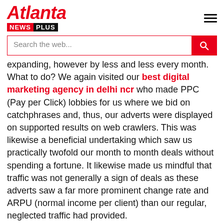Atlanta NEWS PLUS
expanding, however by less and less every month. What to do? We again visited our best digital marketing agency in delhi ncr who made PPC (Pay per Click) lobbies for us where we bid on catchphrases and, thus, our adverts were displayed on supported results on web crawlers. This was likewise a beneficial undertaking which saw us practically twofold our month to month deals without spending a fortune. It likewise made us mindful that traffic was not generally a sign of deals as these adverts saw a far more prominent change rate and ARPU (normal income per client) than our regular, neglected traffic had provided.
Get the best services at low prices
Once more, however, even with steady smoothing out of